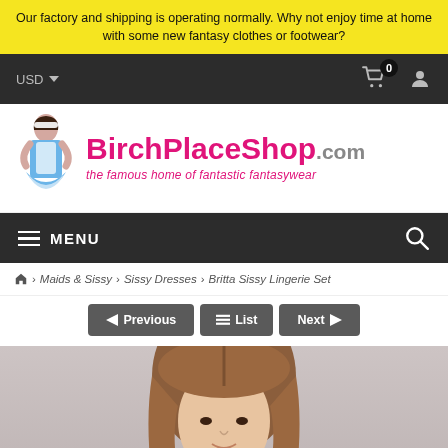Our factory and shipping is operating normally. Why not enjoy time at home with some new fantasy clothes or footwear?
USD  0  [user icon]
[Figure (logo): BirchPlaceShop.com logo with woman in maid costume and tagline 'the famous home of fantastic fantasywear']
MENU  [search icon]
Home > Maids & Sissy > Sissy Dresses > Britta Sissy Lingerie Set
Previous  List  Next
[Figure (photo): Photo of a woman with long brown hair, product model for Britta Sissy Lingerie Set]